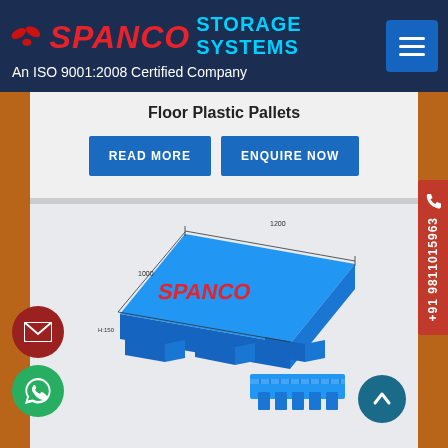[Figure (logo): Spanco Storage Systems logo with red SPANCO text, cyan STORAGE SYSTEMS text, and ISO 9001:2008 certification text on dark navy background]
Floor Plastic Pallets
READ MORE
ENQUIRE NOW
[Figure (photo): Blue plastic floor pallet shown in 3D perspective view with SPANCO branding, plus a side view of the pallet showing the ribbed underside structure]
+91 9811015963